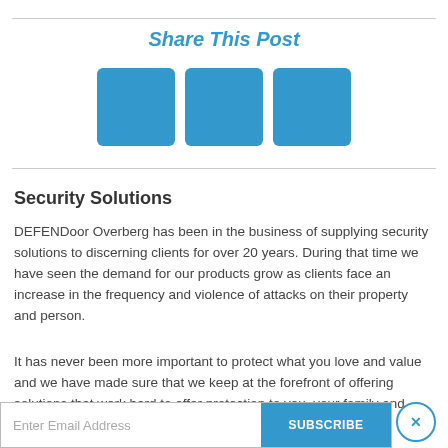Share This Post
[Figure (illustration): Three blue square social share icon buttons centered horizontally]
Security Solutions
DEFENDoor Overberg has been in the business of supplying security solutions to discerning clients for over 20 years. During that time we have seen the demand for our products grow as clients face an increase in the frequency and violence of attacks on their property and person.
It has never been more important to protect what you love and value and we have made sure that we keep at the forefront of offering solutions that work hard to offer protection to you, your family and